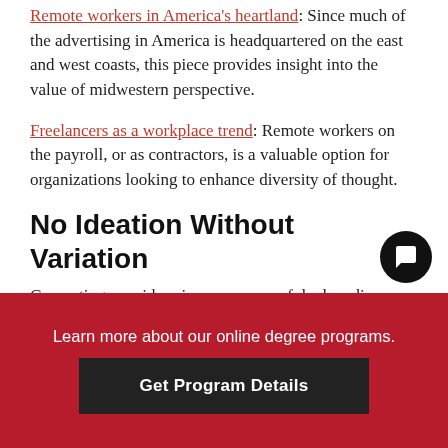Remote workers in America's heartland: Since much of the advertising in America is headquartered on the east and west coasts, this piece provides insight into the value of midwestern perspective.
Freelancers as a workplace trend: Remote workers on the payroll, or as contractors, is a valuable option for organizations looking to enhance diversity of thought.
No Ideation Without Variation
Generating new ideas is more successful when diverse, cross-cultural and cross-functional team members are invited to the brainstorm. Teams bring varied experiences and perspectives when they are made up of diverse people.
Learn more about our online degree programs. Get Program Details